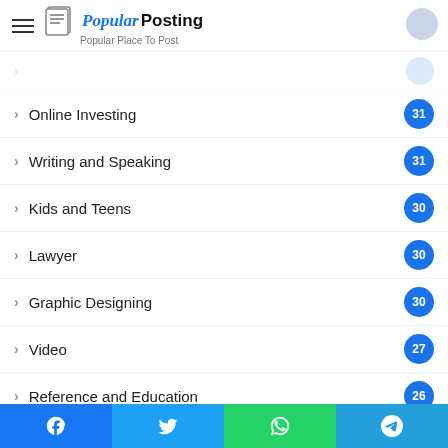PopularPosting — Popular Place To Post
Online Investing — 31
Writing and Speaking — 31
Kids and Teens — 30
Lawyer — 30
Graphic Designing — 30
Video — 27
Reference and Education — 26
CBD — 24
Animals — 23
Relationships — 22
Facebook | Twitter | WhatsApp | Telegram